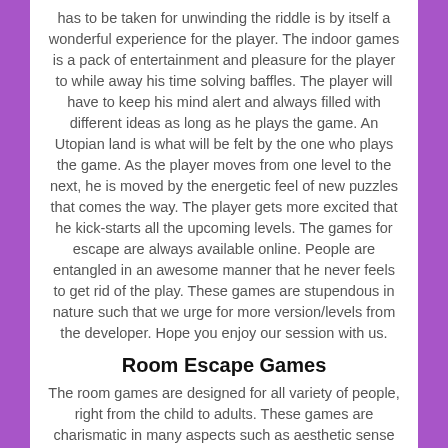has to be taken for unwinding the riddle is by itself a wonderful experience for the player. The indoor games is a pack of entertainment and pleasure for the player to while away his time solving baffles. The player will have to keep his mind alert and always filled with different ideas as long as he plays the game. An Utopian land is what will be felt by the one who plays the game. As the player moves from one level to the next, he is moved by the energetic feel of new puzzles that comes the way. The player gets more excited that he kick-starts all the upcoming levels. The games for escape are always available online. People are entangled in an awesome manner that he never feels to get rid of the play. These games are stupendous in nature such that we urge for more version/levels from the developer. Hope you enjoy our session with us.
Room Escape Games
The room games are designed for all variety of people, right from the child to adults. These games are charismatic in many aspects such as aesthetic sense i.e., in defining colors, contours, 3D images etc. The game concentrates much on the player who plays it, where he has to find his own way to get out